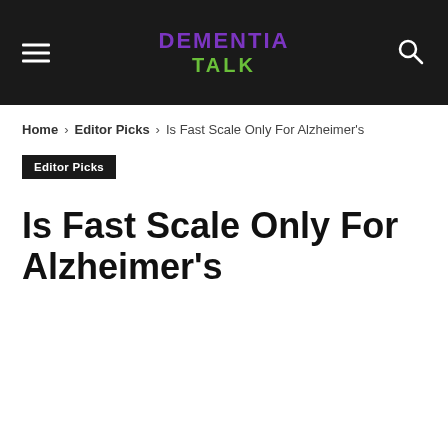DEMENTIA TALK
Home › Editor Picks › Is Fast Scale Only For Alzheimer's
Editor Picks
Is Fast Scale Only For Alzheimer's